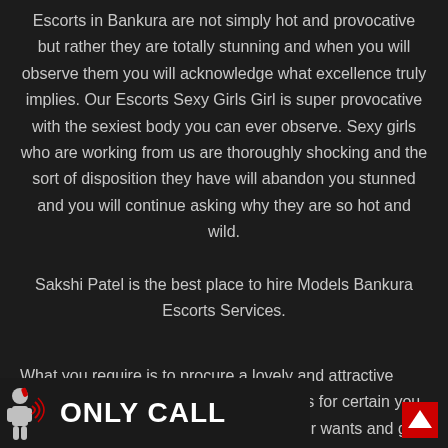Escorts in Bankura are not simply hot and provocative but rather they are totally stunning and when you will observe them you will acknowledge what excellence truly implies. Our Escorts Sexy Girls Girl is super provocative with the sexiest body you can ever observe. Sexy girls who are working from us are thoroughly shocking and the sort of disposition they have will abandon you stunned and you will continue asking why they are so hot and wild.

Sakshi Patel is the best place to hire Models Bankura Escorts Services.

What you require is to procure a lovely and attractive escort sexy girl and rest is her duty that is for certain you will discover Devine is here to satisfy your wants and give you boundless joy and fulfilment. Bankura Escorts are sorts of assistance with the
[Figure (infographic): Bottom banner with a figure of a person with phone and sound waves icon on the left, and bold white text reading ONLY CALL on dark background]